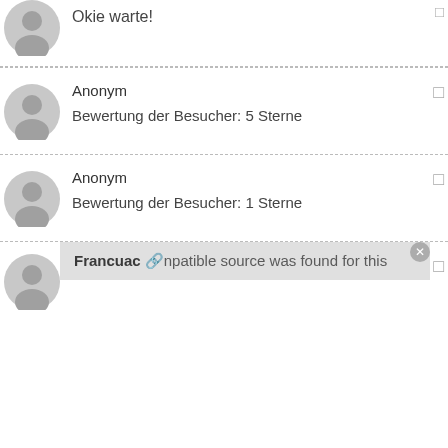Okie warte!
Anonym
Bewertung der Besucher: 5 Sterne
Anonym
Bewertung der Besucher: 1 Sterne
Francuac
no compatible source was found for this